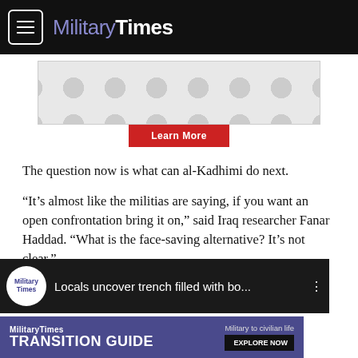MilitaryTimes
[Figure (other): Advertisement banner with circular dot pattern and Learn More button]
The question now is what can al-Kadhimi do next.
“It’s almost like the militias are saying, if you want an open confrontation bring it on,” said Iraq researcher Fanar Haddad. “What is the face-saving alternative? It’s not clear.”
[Figure (screenshot): Military Times video card: Locals uncover trench filled with bo...]
[Figure (other): MilitaryTimes Transition Guide advertisement - Military to civilian life, Explore Now button]